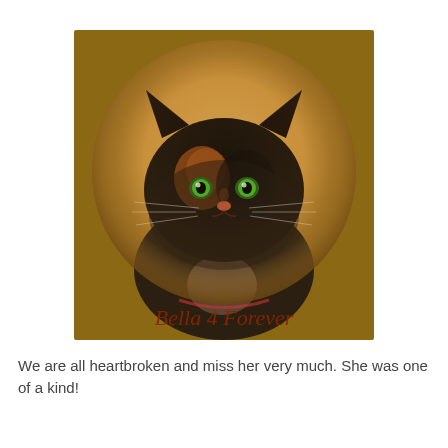[Figure (photo): A fluffy tortoiseshell Persian cat with green eyes, photographed in a circular vignette frame on a golden-brown square background. Script text at the bottom of the image reads 'Bella 4 Forever'.]
We are all heartbroken and miss her very much.  She was one of a kind!